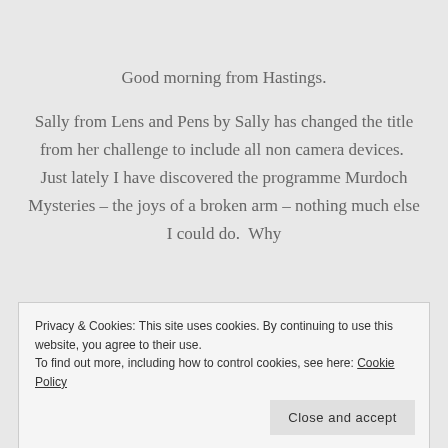Good morning from Hastings.
Sally from Lens and Pens by Sally has changed the title from her challenge to include all non camera devices.  Just lately I have discovered the programme Murdoch Mysteries – the joys of a broken arm – nothing much else I could do.  Why
Privacy & Cookies: This site uses cookies. By continuing to use this website, you agree to their use.
To find out more, including how to control cookies, see here: Cookie Policy
Close and accept
cameras were used – in particular police